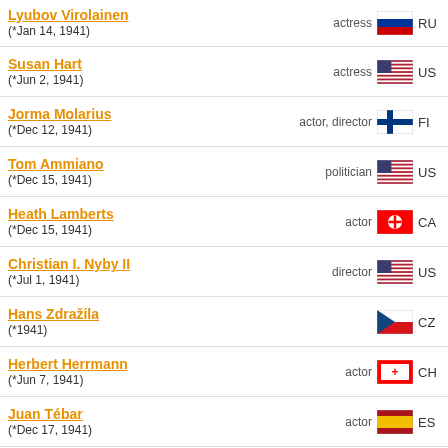Lyubov Virolainen (*Jan 14, 1941) actress RU
Susan Hart (*Jun 2, 1941) actress US
Jorma Molarius (*Dec 12, 1941) actor, director FI
Tom Ammiano (*Dec 15, 1941) politician US
Heath Lamberts (*Dec 15, 1941) actor CA
Christian I. Nyby II (*Jul 1, 1941) director US
Hans Zdražila (*1941) CZ
Herbert Herrmann (*Jun 7, 1941) actor CH
Juan Tébar (*Dec 17, 1941) actor ES
Ilona Medveczky (*Mar 4, 1941) XX